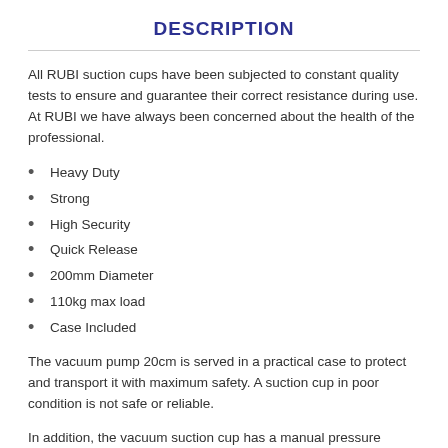DESCRIPTION
All RUBI suction cups have been subjected to constant quality tests to ensure and guarantee their correct resistance during use. At RUBI we have always been concerned about the health of the professional.
Heavy Duty
Strong
High Security
Quick Release
200mm Diameter
110kg max load
Case Included
The vacuum pump 20cm is served in a practical case to protect and transport it with maximum safety. A suction cup in poor condition is not safe or reliable.
In addition, the vacuum suction cup has a manual pressure